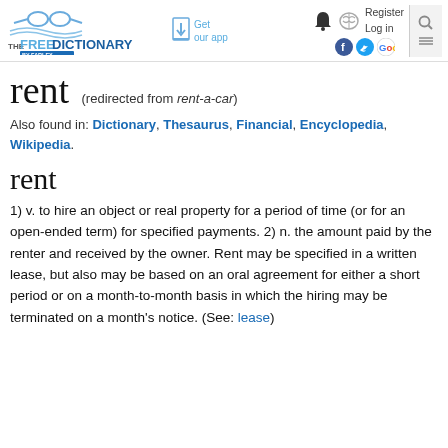The Free Dictionary by Farlex — Get our app — Register Log in
rent (redirected from rent-a-car)
Also found in: Dictionary, Thesaurus, Financial, Encyclopedia, Wikipedia.
rent
1) v. to hire an object or real property for a period of time (or for an open-ended term) for specified payments. 2) n. the amount paid by the renter and received by the owner. Rent may be specified in a written lease, but also may be based on an oral agreement for either a short period or on a month-to-month basis in which the hiring may be terminated on a month's notice. (See: lease)